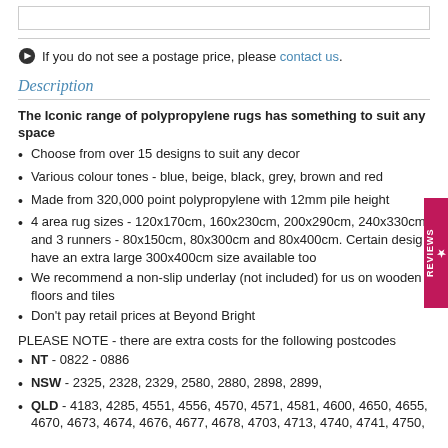If you do not see a postage price, please contact us.
Description
The Iconic range of polypropylene rugs has something to suit any space
Choose from over 15 designs to suit any decor
Various colour tones - blue, beige, black, grey, brown and red
Made from 320,000 point polypropylene with 12mm pile height
4 area rug sizes - 120x170cm, 160x230cm, 200x290cm, 240x330cm and 3 runners - 80x150cm, 80x300cm and 80x400cm. Certain designs have an extra large 300x400cm size available too
We recommend a non-slip underlay (not included) for us on wooden floors and tiles
Don't pay retail prices at Beyond Bright
PLEASE NOTE - there are extra costs for the following postcodes
NT - 0822 - 0886
NSW - 2325, 2328, 2329, 2580, 2880, 2898, 2899,
QLD - 4183, 4285, 4551, 4556, 4570, 4571, 4581, 4600, 4650, 4655, 4670, 4673, 4674, 4676, 4677, 4678, 4703, 4713, 4740, 4741, 4750,